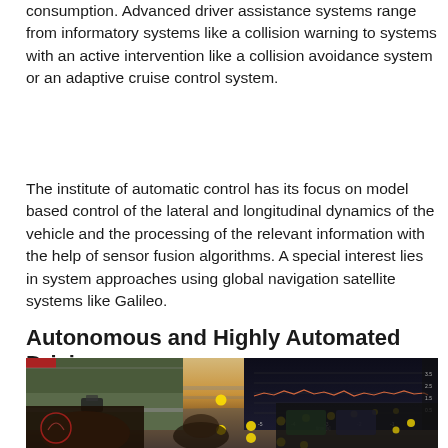consumption. Advanced driver assistance systems range from informatory systems like a collision warning to systems with an active intervention like a collision avoidance system or an adaptive cruise control system.
The institute of automatic control has its focus on model based control of the lateral and longitudinal dynamics of the vehicle and the processing of the relevant information with the help of sensor fusion algorithms. A special interest lies in system approaches using global navigation satellite systems like Galileo.
Autonomous and Highly Automated Driving
[Figure (photo): Composite image showing autonomous driving research: top-left aerial view of a model car on a test track, top-right a data monitor/graph display showing sensor measurements, main background showing road from driver perspective with yellow dotted path overlay indicators, bottom-left and bottom-right inset views of interior and dashboard sensors.]